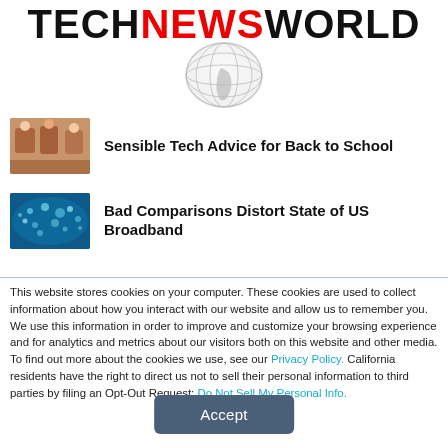TECHNEWSWORLD
Sensible Tech Advice for Back to School
Bad Comparisons Distort State of US Broadband
This website stores cookies on your computer. These cookies are used to collect information about how you interact with our website and allow us to remember you. We use this information in order to improve and customize your browsing experience and for analytics and metrics about our visitors both on this website and other media. To find out more about the cookies we use, see our Privacy Policy. California residents have the right to direct us not to sell their personal information to third parties by filing an Opt-Out Request: Do Not Sell My Personal Info.